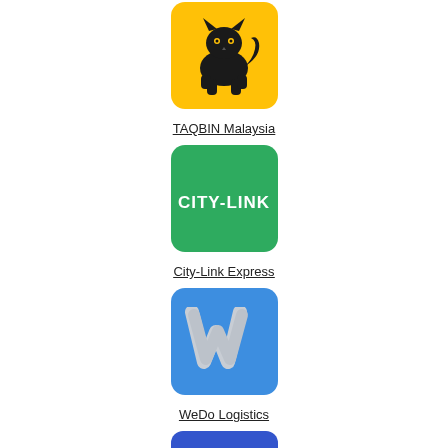[Figure (logo): TAQBIN Malaysia logo: yellow square with rounded corners containing a black stylized cat/lynx icon]
TAQBIN Malaysia
[Figure (logo): City-Link Express logo: green square with rounded corners containing white bold text 'CITY-LINK']
City-Link Express
[Figure (logo): WeDo Logistics logo: blue square with rounded corners containing a light grey stylized 'w' letter mark]
WeDo Logistics
[Figure (logo): Partial blue square logo at the bottom, partially cut off]